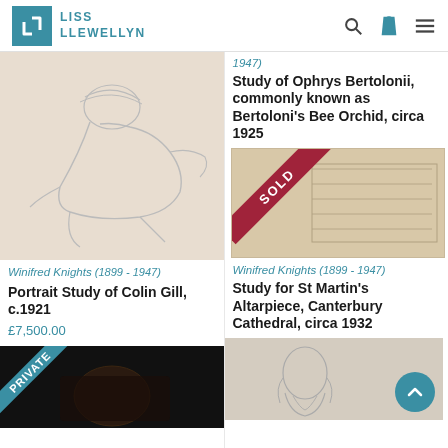LISS LLEWELLYN
[Figure (photo): Pencil sketch of a seated figure, Winifred Knights artwork]
Winifred Knights (1899 - 1947)
Portrait Study of Colin Gill, c.1921
£7,500.00
1947)
Study of Ophrys Bertolonii, commonly known as Bertoloni's Bee Orchid, circa 1925
[Figure (photo): Sketch drawing with SOLD banner, Winifred Knights artwork]
Winifred Knights (1899 - 1947)
Study for St Martin's Altarpiece, Canterbury Cathedral, circa 1932
[Figure (photo): Dark artwork with PRIVATE banner partially visible]
[Figure (photo): Pencil sketch of a bearded figure, bottom right with scroll-to-top button]